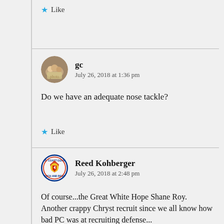Like
gc
July 26, 2018 at 1:36 pm
Do we have an adequate nose tackle?
Like
Reed Kohberger
July 26, 2018 at 2:48 pm
Of course...the Great White Hope Shane Roy. Another crappy Chryst recruit since we all know how bad PC was at recruiting defense...

Yet Roy, Wirginis,Idowu and Zeise will probably